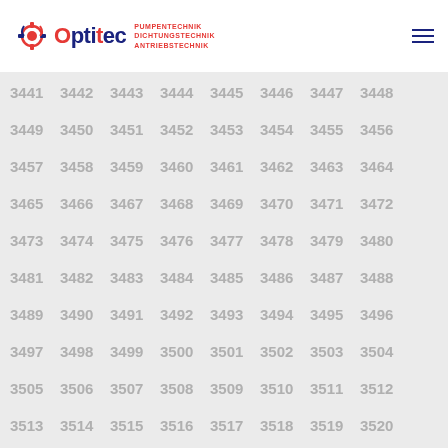[Figure (logo): Optitec logo with gear/pump icon and taglines: PUMPENTECHNIK, DICHTUNGSTECHNIK, ANTRIEBSTECHNIK]
3441 3442 3443 3444 3445 3446 3447 3448
3449 3450 3451 3452 3453 3454 3455 3456
3457 3458 3459 3460 3461 3462 3463 3464
3465 3466 3467 3468 3469 3470 3471 3472
3473 3474 3475 3476 3477 3478 3479 3480
3481 3482 3483 3484 3485 3486 3487 3488
3489 3490 3491 3492 3493 3494 3495 3496
3497 3498 3499 3500 3501 3502 3503 3504
3505 3506 3507 3508 3509 3510 3511 3512
3513 3514 3515 3516 3517 3518 3519 3520
3521 3522 3523 3524 3525 3526 3527 3528